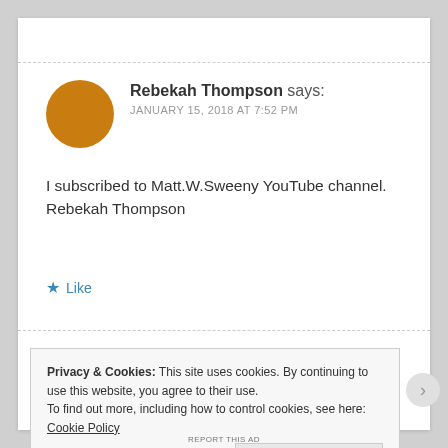Rebekah Thompson says:
JANUARY 15, 2018 AT 7:52 PM
I subscribed to Matt.W.Sweeny YouTube channel. Rebekah Thompson
★ Like
Privacy & Cookies: This site uses cookies. By continuing to use this website, you agree to their use.
To find out more, including how to control cookies, see here: Cookie Policy
Close and accept